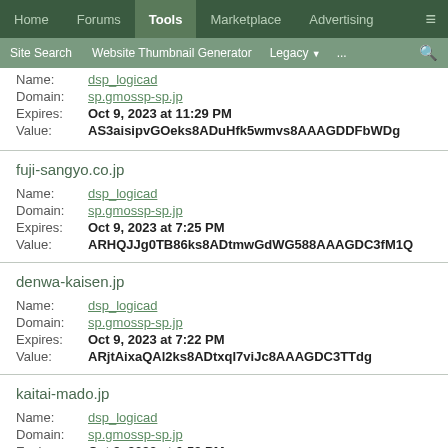Home | Forums | Tools | Marketplace | Advertising | ≡
Site Search | Website Thumbnail Generator | Legacy ▼ | ... | 🔍
Name: dsp_logicad
Domain: sp.gmossp-sp.jp
Expires: Oct 9, 2023 at 11:29 PM
Value: AS3aisipvGOeks8ADuHfk5wmvs8AAAGDDFbWDg
fuji-sangyo.co.jp
Name: dsp_logicad
Domain: sp.gmossp-sp.jp
Expires: Oct 9, 2023 at 7:25 PM
Value: ARHQJJg0TB86ks8ADtmwGdWG588AAAGDC3fM1Q
denwa-kaisen.jp
Name: dsp_logicad
Domain: sp.gmossp-sp.jp
Expires: Oct 9, 2023 at 7:22 PM
Value: ARjtAixaQAl2ks8ADtxqI7viJc8AAAGDC3TTdg
kaitai-mado.jp
Name: dsp_logicad
Domain: sp.gmossp-sp.jp
Expires: Oct 9, 2023 at 6:59 PM
Value: AdlFz_0543jFks8ADuAN6k-KDs8AAAGDC1-SUg